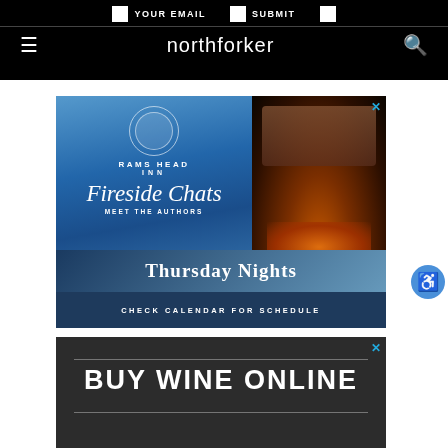northforker — YOUR EMAIL | SUBMIT navigation bar
[Figure (illustration): Rams Head Inn advertisement: Fireside Chats – Meet the Authors, Thursday Nights. Check Calendar for Schedule. Features blue sky and fireplace imagery.]
[Figure (illustration): Buy Wine Online advertisement on dark background with horizontal rules.]